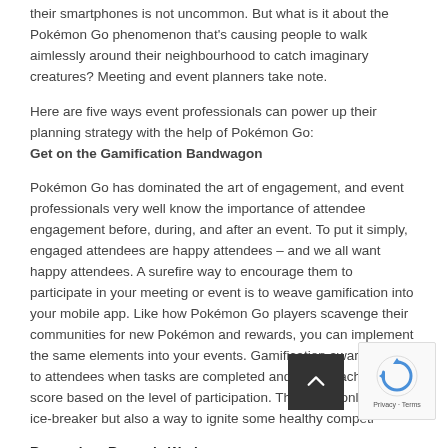their smartphones is not uncommon. But what is it about the Pokémon Go phenomenon that's causing people to walk aimlessly around their neighbourhood to catch imaginary creatures? Meeting and event planners take note.
Here are five ways event professionals can power up their planning strategy with the help of Pokémon Go:
Get on the Gamification Bandwagon
Pokémon Go has dominated the art of engagement, and event professionals very well know the importance of attendee engagement before, during, and after an event. To put it simply, engaged attendees are happy attendees – and we all want happy attendees. A surefire way to encourage them to participate in your meeting or event is to weave gamification into your mobile app. Like how Pokémon Go players scavenge their communities for new Pokémon and rewards, you can implement the same elements into your events. Gamification awards points to attendees when tasks are completed and ranks each player's score based on the level of participation. This is not only a great ice-breaker but also a way to ignite some healthy competition.
Remember: Rewards Work